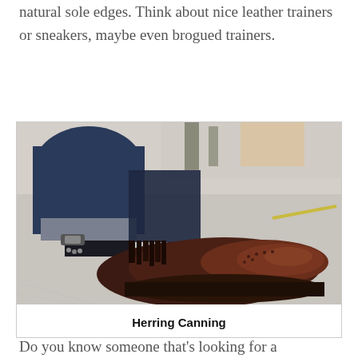natural sole edges. Think about nice leather trainers or sneakers, maybe even brogued trainers.
[Figure (photo): Close-up photo of a person wearing dark jeans with the cuff rolled up, wearing a dark burgundy/brown brogue leather shoe with fringe/tassel detail, standing on a concrete sidewalk. The shoe has a thick natural sole edge.]
Herring Canning
Do you know someone that’s looking for a